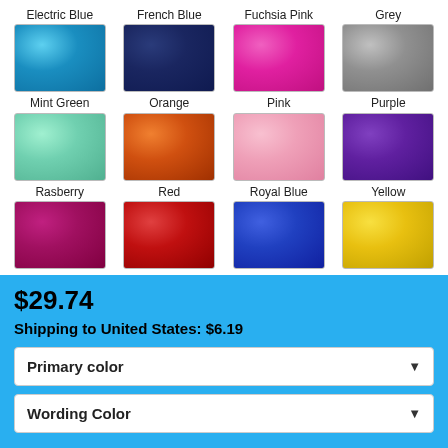[Figure (illustration): Color swatch grid showing 12 fabric color options: Electric Blue, French Blue, Fuchsia Pink, Grey, Mint Green, Orange, Pink, Purple, Rasberry, Red, Royal Blue, Yellow. Each has a label above and a textured fabric swatch below.]
$29.74
Shipping to United States: $6.19
Primary color
Wording Color